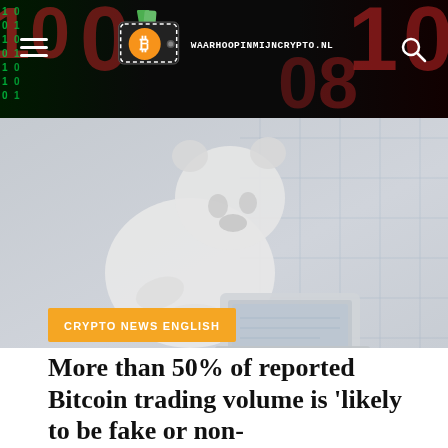WAARHOOPINMIJNCRYPTO.NL
[Figure (illustration): Illustration of a bear (animal) sitting at a laptop computer in a digital/tech environment with grid lines and circuit-board style background]
CRYPTO NEWS ENGLISH
More than 50% of reported Bitcoin trading volume is 'likely to be fake or non-